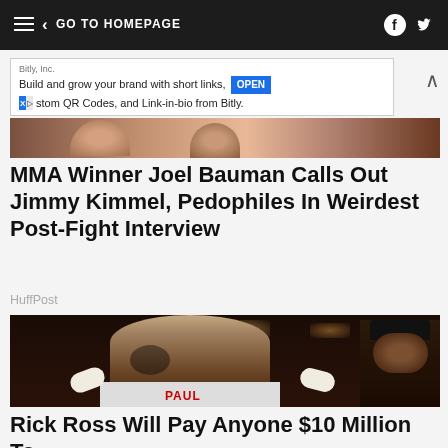GO TO HOMEPAGE
[Figure (screenshot): Advertisement banner for Bitly: 'Build and grow your brand with short links, custom QR Codes, and Link-in-bio from Bitly.' with OPEN button]
[Figure (photo): Partial photo strip at top, showing a person's face/shoulder from a fight scene]
MMA Winner Joel Bauman Calls Out Jimmy Kimmel, Pedophiles In Weirdest Post-Fight Interview
HuffPost
[Figure (photo): Photo of a tattooed shirtless male boxer (Jake Paul) in a boxing ring with white hand wraps, gesturing with hands open, another person in black cap visible behind him, arena lights in background]
Rick Ross Will Pay Anyone $10 Million To